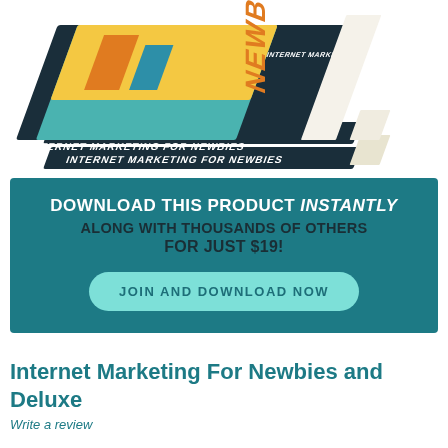[Figure (illustration): Stack of three books titled 'Internet Marketing For Newbies' arranged in a pile, with the top book showing a colorful illustrated cover with 'NEWBIES' in large orange letters on the right side.]
DOWNLOAD THIS PRODUCT INSTANTLY
ALONG WITH THOUSANDS OF OTHERS
FOR JUST $19!

JOIN AND DOWNLOAD NOW
Internet Marketing For Newbies and Deluxe
Write a review